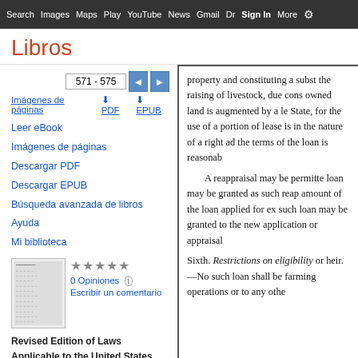Search  Images  Maps  Play  YouTube  News  Gmail  Dr  Sign In  More  ⚙
Libros
571 - 575
Imágenes de páginas   ⬇ PDF   ⬇ EPUB
Leer eBook
Imágenes de páginas
Descargar PDF
Descargar EPUB
Búsqueda avanzada de libros
Ayuda
Mi biblioteca
0 Opiniones  ⓘ
Escribir un comentario
Revised Edition of Laws Applicable to the United States Department ..., Unites...
property and constituting a subst the raising of livestock, due cons owned land is augmented by a le State, for the use of a portion of lease is in the nature of a right ad the terms of the loan is reasonab

A reappraisal may be permitte loan may be granted as such reap amount of the loan applied for ex such loan may be granted to the new application or appraisal

Sixth. Restrictions on eligibility or heir.—No such loan shall be farming operations or to any othe